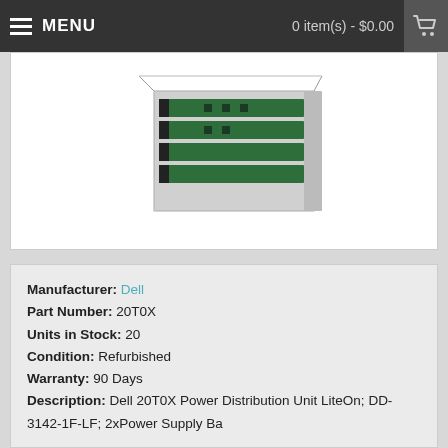MENU   0 item(s) - $0.00
[Figure (photo): Photo of a Dell 20T0X Power Distribution Unit hardware component with green circuit boards and metal casing]
Manufacturer: Dell
Part Number: 20T0X
Units in Stock: 20
Condition: Refurbished
Warranty: 90 Days
Description: Dell 20T0X Power Distribution Unit LiteOn; DD-3142-1F-LF; 2xPower Supply Ba
Ships next business day.
Overnight and expedited shipping services